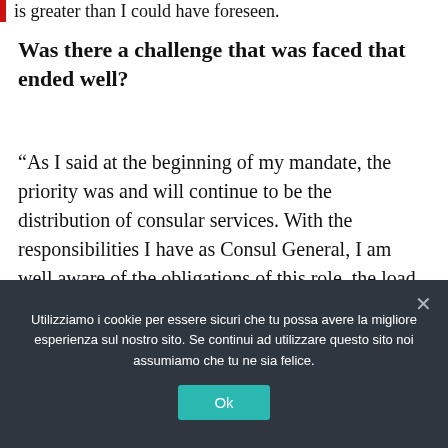is greater than I could have foreseen.
Was there a challenge that was faced that ended well?
“As I said at the beginning of my mandate, the priority was and will continue to be the distribution of consular services. With the responsibilities I have as Consul General, I am well aware of the obligations of this role, the load of which is not only physically heavy, rather more importantly they are obligations to always
Utilizziamo i cookie per essere sicuri che tu possa avere la migliore esperienza sul nostro sito. Se continui ad utilizzare questo sito noi assumiamo che tu ne sia felice.